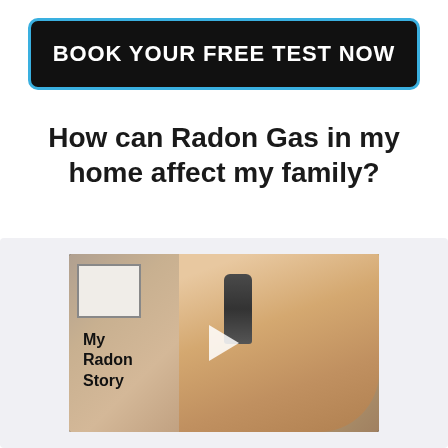BOOK YOUR FREE TEST NOW
How can Radon Gas in my home affect my family?
[Figure (photo): Video thumbnail showing a woman with blonde hair smiling, with text overlay reading 'My Radon Story' and a play button in the center. The video is displayed inside a light gray card.]